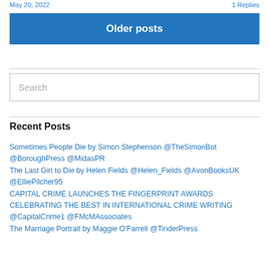May 20, 2022   1 Replies
Older posts
Search
Recent Posts
Sometimes People Die by Simon Stephenson @TheSimonBot @BoroughPress @MidasPR
The Last Girl to Die by Helen Fields @Helen_Fields @AvonBooksUK @ElliePilcher95
CAPITAL CRIME LAUNCHES THE FINGERPRINT AWARDS CELEBRATING THE BEST IN INTERNATIONAL CRIME WRITING @CapitalCrime1 @FMcMAssociates
The Marriage Portrait by Maggie O'Farrell @TinderPress